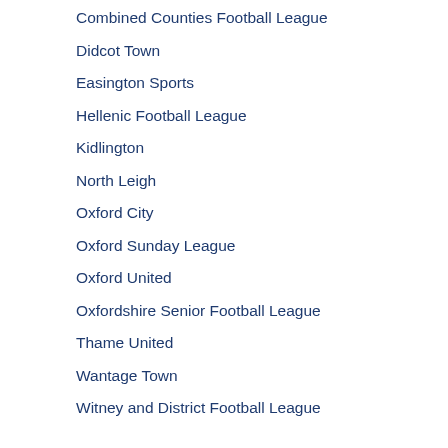Combined Counties Football League
Didcot Town
Easington Sports
Hellenic Football League
Kidlington
North Leigh
Oxford City
Oxford Sunday League
Oxford United
Oxfordshire Senior Football League
Thame United
Wantage Town
Witney and District Football League